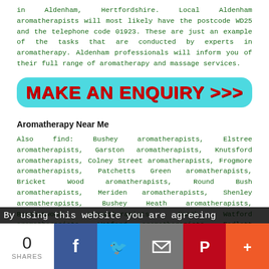in Aldenham, Hertfordshire. Local Aldenham aromatherapists will most likely have the postcode WD25 and the telephone code 01923. These are just an example of the tasks that are conducted by experts in aromatherapy. Aldenham professionals will inform you of their full range of aromatherapy and massage services.
[Figure (other): Cyan rounded-rectangle call-to-action button with red bold text reading MAKE AN ENQUIRY >>>]
Aromatherapy Near Me
Also find: Bushey aromatherapists, Elstree aromatherapists, Garston aromatherapists, Knutsford aromatherapists, Colney Street aromatherapists, Frogmore aromatherapists, Patchetts Green aromatherapists, Bricket Wood aromatherapists, Round Bush aromatherapists, Meriden aromatherapists, Shenley aromatherapists, Bushey Heath aromatherapists, Borehamwood aromatherapists, North Watford aromatherapists, Watford aromatherapists, Radlett aromatherapists, Letchmore Heath aromatherapists and more. All of these villages and towns are catered for by specialists in aromatherapy. Aldenham residents can get aromatherapy quotes by going here
By using this website you are agreeing
[Figure (infographic): Social share bar with 0 SHARES count and icons for Facebook, Twitter, Email, Pinterest, and More]